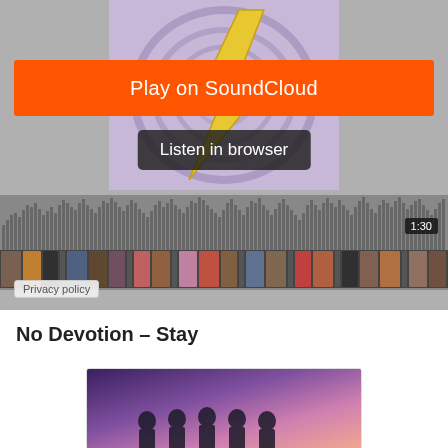[Figure (screenshot): SoundCloud embedded player with album art showing a lightning bolt illustration, orange Play on SoundCloud button, Listen in browser button, audio waveform, listener thumbnail strip, and 1:30 time badge]
Privacy policy
No Devotion – Stay
[Figure (screenshot): Second SoundCloud embed showing a band photo of No Devotion against a pink/purple gradient background]